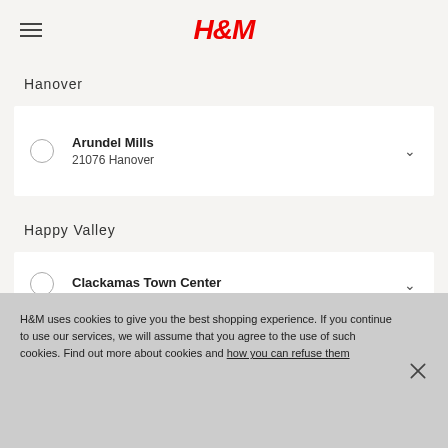H&M
Hanover
Arundel Mills
21076 Hanover
Happy Valley
Clackamas Town Center
H&M uses cookies to give you the best shopping experience. If you continue to use our services, we will assume that you agree to the use of such cookies. Find out more about cookies and how you can refuse them